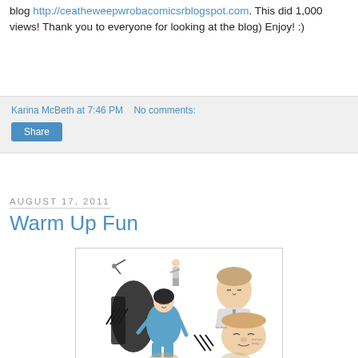blog http://ceatheweepwrobacomicsrblogspot.com. This did 1,000 views! Thank you to everyone for looking at the blog) Enjoy! :)
Karina McBeth at 7:46 PM   No comments:
Share
August 17, 2011
Warm Up Fun
[Figure (illustration): Warm-up sketch illustration with multiple character drawings in ink and blue, showing figures in various poses including a girl with dark hair in blue outfit and character face studies]